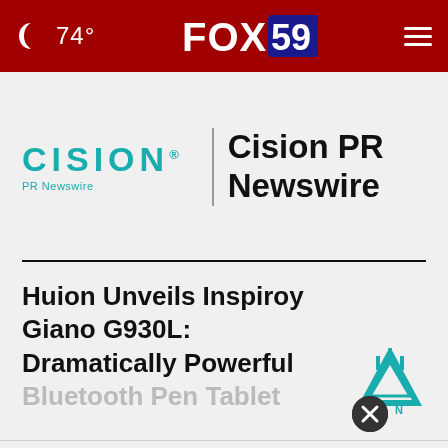🌙 74° | FOX 59 | ☰
[Figure (logo): Cision PR Newswire logo — teal CISION wordmark with registered trademark, PR Newswire subtitle, vertical divider, and bold black 'Cision PR Newswire' text]
Huion Unveils Inspiroy Giano G930L: Dramatically Powerful Bluetooth Pen Tablet
[Figure (logo): Adidas-style crown logo in teal/blue color (ad overlay)]
[Figure (other): Dark circular close/dismiss button with X mark]